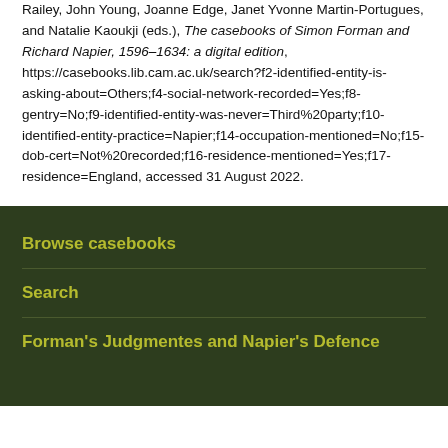Railey, John Young, Joanne Edge, Janet Yvonne Martin-Portugues, and Natalie Kaoukji (eds.), The casebooks of Simon Forman and Richard Napier, 1596–1634: a digital edition, https://casebooks.lib.cam.ac.uk/search?f2-identified-entity-is-asking-about=Others;f4-social-network-recorded=Yes;f8-gentry=No;f9-identified-entity-was-never=Third%20party;f10-identified-entity-practice=Napier;f14-occupation-mentioned=No;f15-dob-cert=Not%20recorded;f16-residence-mentioned=Yes;f17-residence=England, accessed 31 August 2022.
Browse casebooks
Search
Forman's Judgmentes and Napier's Defence